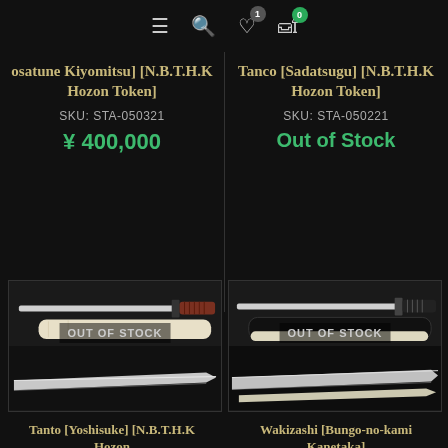Navigation bar with menu, search, wishlist (1), and cart (0) icons
osatune Kiyomitsu] [N.B.T.H.K Hozon Token] SKU: STA-050321 ¥ 400,000
Tanco [Sadatsugu] [N.B.T.H.K Hozon Token] SKU: STA-050221 Out of Stock
[Figure (photo): Japanese sword (tanto/katana) shown with reddish-brown handle, ivory scabbard, and polished blade, with OUT OF STOCK overlay]
[Figure (photo): Japanese sword (wakizashi) shown with dark handle, black lacquer scabbard, and polished blade, with OUT OF STOCK overlay]
Tanto [Yoshisuke] [N.B.T.H.K Hozon
Wakizashi [Bungo-no-kami Kanetaka]